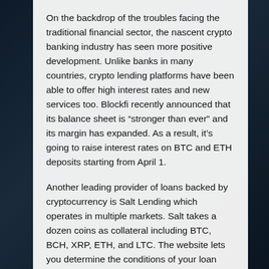On the backdrop of the troubles facing the traditional financial sector, the nascent crypto banking industry has seen more positive development. Unlike banks in many countries, crypto lending platforms have been able to offer high interest rates and new services too. Blockfi recently announced that its balance sheet is “stronger than ever” and its margin has expanded. As a result, it’s going to raise interest rates on BTC and ETH deposits starting from April 1.
Another leading provider of loans backed by cryptocurrency is Salt Lending which operates in multiple markets. Salt takes a dozen coins as collateral including BTC, BCH, XRP, ETH, and LTC. The website lets you determine the conditions of your loan including the LTV ratio between 30 and 70% and the repayment period, three to 12 months. Interest rates start from 5.95% APR. In December, the trading platform Uphold announced a deal with